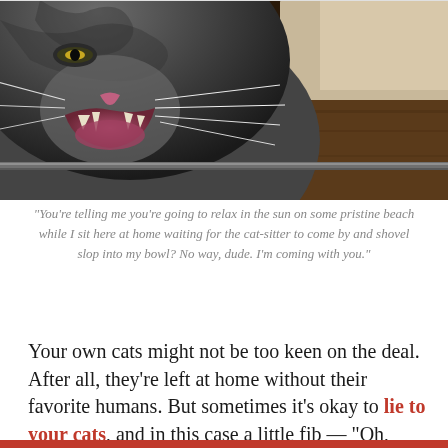[Figure (photo): Close-up photo of a gray tabby cat with mouth open, whiskers visible, looking at the camera. A metallic edge is visible in the lower portion of the image.]
“You’re telling me you’re going to relax in the sun on some pristine beach while I sit here at home waiting for the cat-sitter to come by and shovel slop into my bowl? No way, dude. I’m coming with you.”
Your own cats might not be too keen on the deal. After all, they’re left at home without their favorite humans. But sometimes it’s okay to lie to your cats, and in this case a little fib — “Oh,